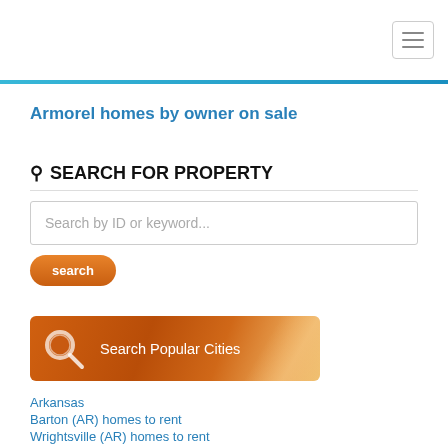Armorel homes by owner on sale
SEARCH FOR PROPERTY
Search by ID or keyword...
search
[Figure (illustration): Search Popular Cities banner with orange gradient background and magnifying glass icon]
Arkansas
Barton (AR) homes to rent
Wrightsville (AR) homes to rent